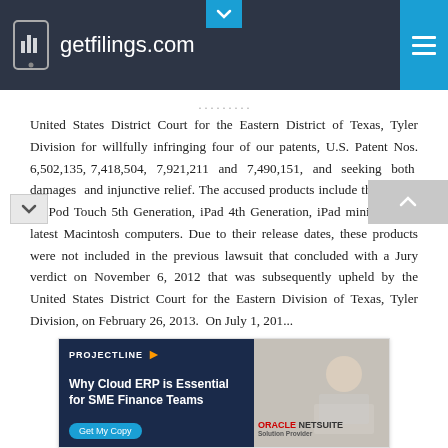getfilings.com
United States District Court for the Eastern District of Texas, Tyler Division for willfully infringing four of our patents, U.S. Patent Nos. 6,502,135, 7,418,504, 7,921,211 and 7,490,151, and seeking both damages and injunctive relief. The accused products include the iPhone 5, iPod Touch 5th Generation, iPad 4th Generation, iPad mini, and the latest Macintosh computers. Due to their release dates, these products were not included in the previous lawsuit that concluded with a Jury verdict on November 6, 2012 that was subsequently upheld by the United States District Court for the Eastern Division of Texas, Tyler Division, on February 26, 2013. On July 1, 201...
[Figure (infographic): Advertisement banner for PROJECTLINE - Why Cloud ERP is Essential for SME Finance Teams - Get My Copy - Oracle NetSuite Solution Provider]